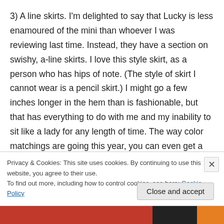3) A line skirts. I'm delighted to say that Lucky is less enamoured of the mini than whoever I was reviewing last time. Instead, they have a section on swishy, a-line skirts. I love this style skirt, as a person who has hips of note. (The style of skirt I cannot wear is a pencil skirt.) I might go a few inches longer in the hem than is fashionable, but that has everything to do with me and my inability to sit like a lady for any length of time. The way color matchings are going this year, you can even get a fun color (they have a neat plum skirt they matched with 11 tops, some of which
Privacy & Cookies: This site uses cookies. By continuing to use this website, you agree to their use.
To find out more, including how to control cookies, see here: Cookie Policy
Close and accept